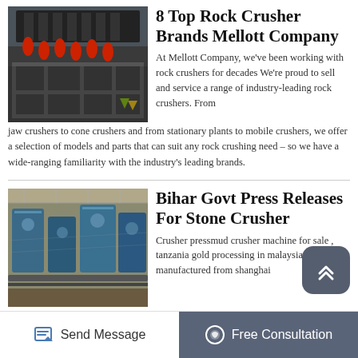[Figure (photo): Industrial rock crusher machinery with red cylinders and heavy metal frames outdoors]
8 Top Rock Crusher Brands Mellott Company
At Mellott Company, we've been working with rock crushers for decades We're proud to sell and service a range of industry-leading rock crushers. From jaw crushers to cone crushers and from stationary plants to mobile crushers, we offer a selection of models and parts that can suit any rock crushing need – so we have a wide-ranging familiarity with the industry's leading brands.
[Figure (photo): Industrial stone crusher facility interior with blue machinery and conveyor systems]
Bihar Govt Press Releases For Stone Crusher
Crusher pressmud crusher machine for sale , tanzania gold processing in malaysia is manufactured from shanghai
Send Message    Free Consultation